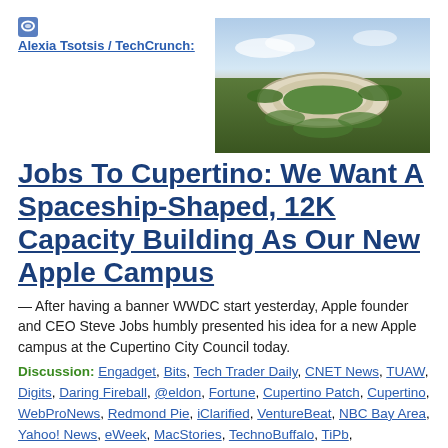Alexia Tsotsis / TechCrunch:
[Figure (photo): Aerial rendering of the Apple Campus 2 spaceship-shaped circular building surrounded by trees]
Jobs To Cupertino: We Want A Spaceship-Shaped, 12K Capacity Building As Our New Apple Campus
— After having a banner WWDC start yesterday, Apple founder and CEO Steve Jobs humbly presented his idea for a new Apple campus at the Cupertino City Council today.
Discussion: Engadget, Bits, Tech Trader Daily, CNET News, TUAW, Digits, Daring Fireball, @eldon, Fortune, Cupertino Patch, Cupertino, WebProNews, Redmond Pie, iClarified, VentureBeat, NBC Bay Area, Yahoo! News, eWeek, MacStories, TechnoBuffalo, TiPb, paidContent, msnbc.com, Inquirer, IntoMobile, NBC Bay Area, GMSV, MacRumors, techeblog.com, Geek.com, I4U News, Geeky-Gadgets, AppleInsider, Pulse2, ...